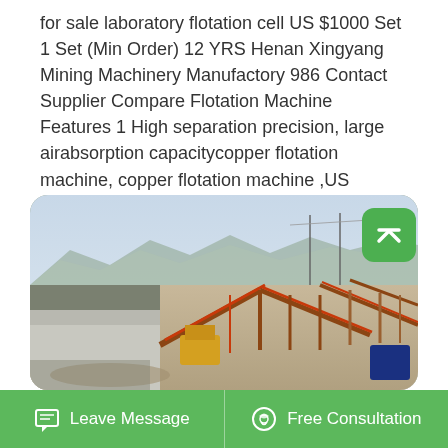for sale laboratory flotation cell US $1000 Set 1 Set (Min Order) 12 YRS Henan Xingyang Mining Machinery Manufactory 986 Contact Supplier Compare Flotation Machine Features 1 High separation precision, large airabsorption capacitycopper flotation machine, copper flotation machine ,US $1000.
[Figure (photo): Outdoor mining/quarry facility with conveyor belts, scaffolding, and industrial equipment against a mountain backdrop. Rocky terrain in foreground with concrete structures visible on the left.]
Leave Message
Free Consultation